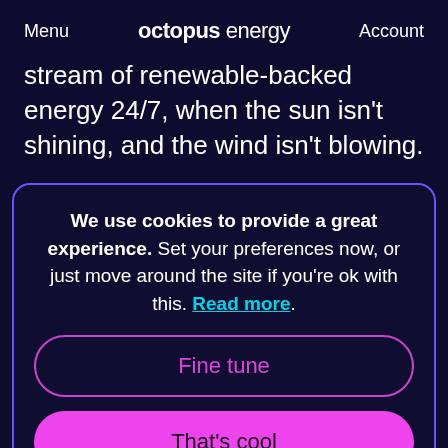Menu  octopus energy  Account
stream of renewable-backed energy 24/7, when the sun isn't shining, and the wind isn't blowing.
We use cookies to provide a great experience. Set your preferences now, or just move around the site if you're ok with this. Read more.
Fine tune
That's cool